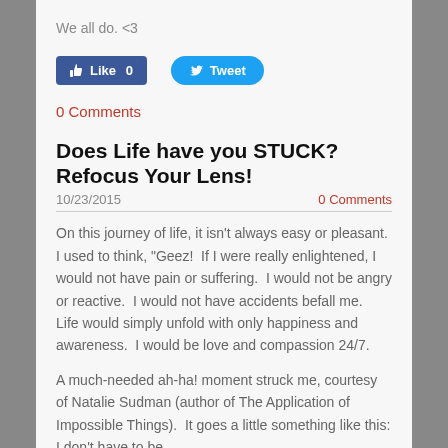We all do. <3
[Figure (screenshot): Social media buttons: Facebook Like (count 0) and Twitter Tweet]
0 Comments
Does Life have you STUCK? Refocus Your Lens!
10/23/2015    0 Comments
On this journey of life, it isn't always easy or pleasant. I used to think, "Geez! If I were really enlightened, I would not have pain or suffering. I would not be angry or reactive. I would not have accidents befall me. Life would simply unfold with only happiness and awareness. I would be love and compassion 24/7.
A much-needed ah-ha! moment struck me, courtesy of Natalie Sudman (author of The Application of Impossible Things). It goes a little something like this: I don't have to be